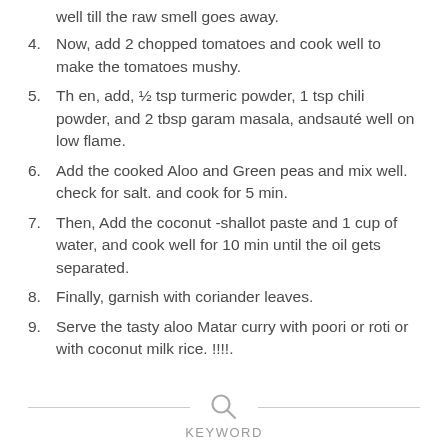well till the raw smell goes away.
Now, add 2 chopped tomatoes and cook well to make the tomatoes mushy.
Th en, add, ½ tsp turmeric powder, 1 tsp chili powder, and 2 tbsp garam masala, andsauté well on low flame.
Add the cooked Aloo and Green peas and mix well. check for salt. and cook for 5 min.
Then, Add the coconut -shallot paste and 1 cup of water, and cook well for 10 min until the oil gets separated.
Finally, garnish with coriander leaves.
Serve the tasty aloo Matar curry with poori or roti or with coconut milk rice. !!!!.
KEYWORD